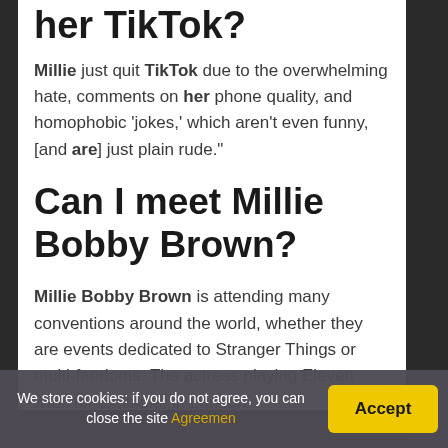her TikTok?
Millie just quit TikTok due to the overwhelming hate, comments on her phone quality, and homophobic 'jokes,' which aren't even funny, [and are] just plain rude."
Can I meet Millie Bobby Brown?
Millie Bobby Brown is attending many conventions around the world, whether they are events dedicated to Stranger Things or multi-fandoms. The actress playing Eleven was, for example, in London
We store cookies: if you do not agree, you can close the site Agreemen  Accept